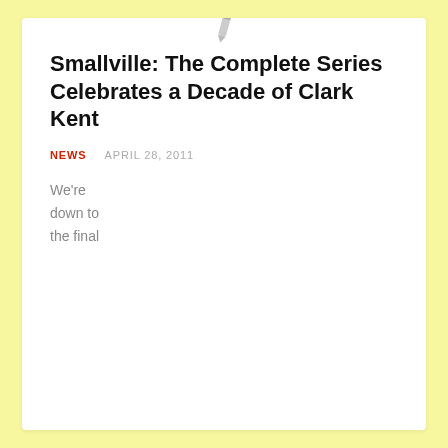[Figure (illustration): Small pencil/pen icon at top center of the card]
Smallville: The Complete Series Celebrates a Decade of Clark Kent
NEWS   APRIL 28, 2011
We're down to the final